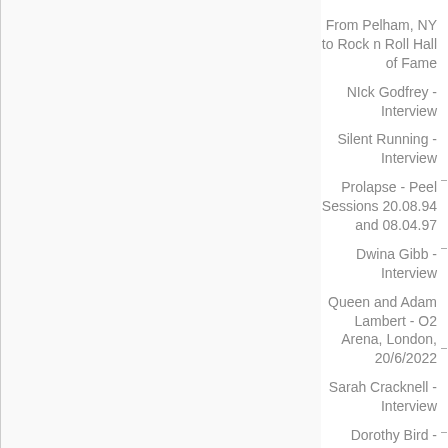From Pelham, NY to Rock n Roll Hall of Fame
NIck Godfrey - Interview
Silent Running - Interview
Prolapse - Peel Sessions 20.08.94 and 08.04.97
Dwina Gibb - Interview
Queen and Adam Lambert - O2 Arena, London, 20/6/2022
Sarah Cracknell - Interview
Dorothy Bird - Jimmy's, Liverpool,